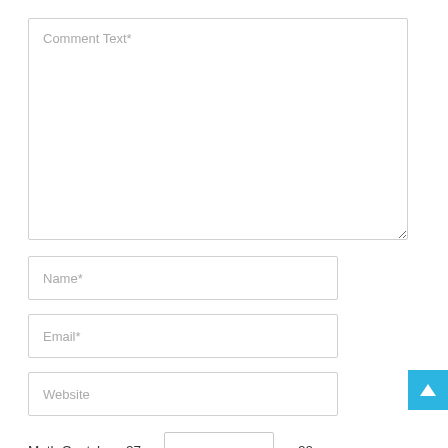Comment Text*
Name*
Email*
Website
Math Captcha   27 – [input] = 20